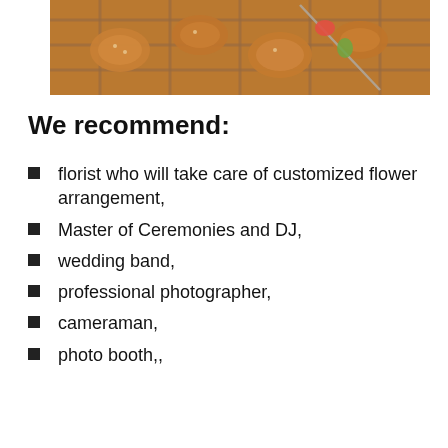[Figure (photo): Grilled meat and vegetables on a barbecue grill]
We recommend:
florist who will take care of customized flower arrangement,
Master of Ceremonies and DJ,
wedding band,
professional photographer,
cameraman,
photo booth,,